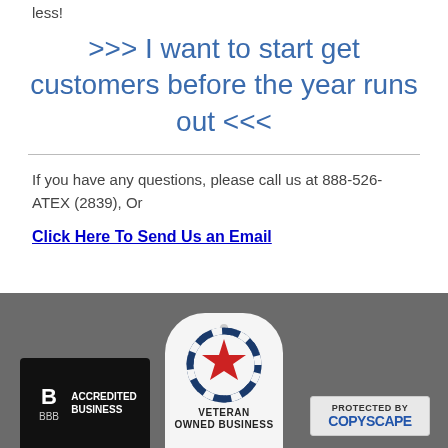less!
>>> I want to start get customers before the year runs out <<<
If you have any questions, please call us at 888-526-ATEX (2839), Or
Click Here To Send Us an Email
[Figure (logo): Footer with three badges: BBB Accredited Business badge, Veteran Owned Business badge (circular with red star), and Protected by Copyscape badge]
ACCREDITED BUSINESS | VETERAN OWNED BUSINESS | PROTECTED BY COPYSCAPE